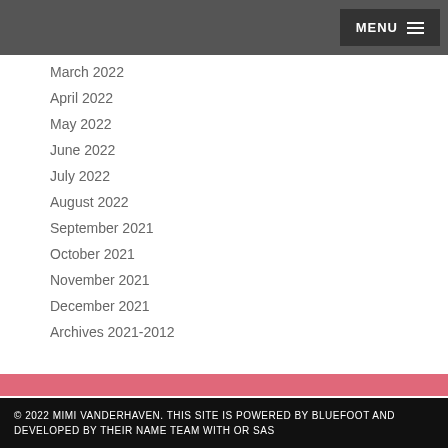MENU
March 2022
April 2022
May 2022
June 2022
July 2022
August 2022
September 2021
October 2021
November 2021
December 2021
Archives 2021-2012
© 2022 MIMI VANDERHAVEN. THIS SITE IS POWERED BY BLUEFOOT AND DEVELOPED BY THEIR NAME TEAM WITH OR SAS